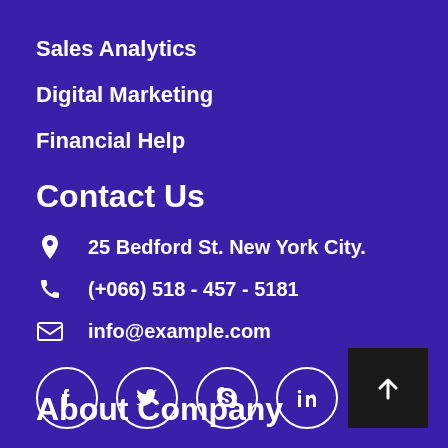Sales Analytics
Digital Marketing
Financial Help
Contact Us
25 Bedford St. New York City.
(+066) 518 - 457 - 5181
info@example.com
[Figure (infographic): Four social media icon circles: Facebook, Twitter, Skype, LinkedIn]
About Company
[Figure (infographic): Back to top button with upward arrow on dark background]